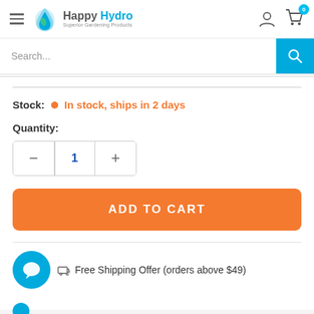Happy Hydro – Superior Gardening Products
Search...
Stock: In stock, ships in 2 days
Quantity:
ADD TO CART
Free Shipping Offer (orders above $49)